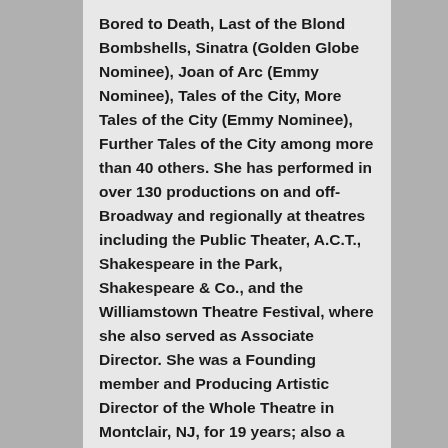Bored to Death, Last of the Blond Bombshells, Sinatra (Golden Globe Nominee), Joan of Arc (Emmy Nominee), Tales of the City, More Tales of the City (Emmy Nominee), Further Tales of the City among more than 40 others. She has performed in over 130 productions on and off-Broadway and regionally at theatres including the Public Theater, A.C.T., Shakespeare in the Park, Shakespeare & Co., and the Williamstown Theatre Festival, where she also served as Associate Director. She was a Founding member and Producing Artistic Director of the Whole Theatre in Montclair, NJ, for 19 years; also a founding member of the Actor's Company and the Charles Playhouse in Boston. She continues to teach acting at NYU and master classes for professional theatre companies, colleges, and universities across the country. She was bestowed the